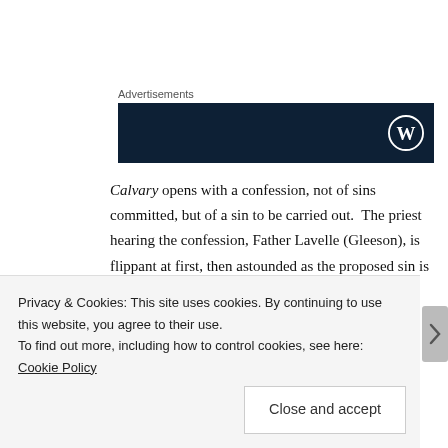Advertisements
[Figure (other): Dark navy advertisement banner with WordPress logo in the bottom right corner]
Calvary opens with a confession, not of sins committed, but of a sin to be carried out.  The priest hearing the confession, Father Lavelle (Gleeson), is flippant at first, then astounded as the proposed sin is murder, and the victim will be himself.  The parishioner was abused as a child by another priest (now dead) and wants his revenge; what better way to
Privacy & Cookies: This site uses cookies. By continuing to use this website, you agree to their use.
To find out more, including how to control cookies, see here: Cookie Policy
Close and accept